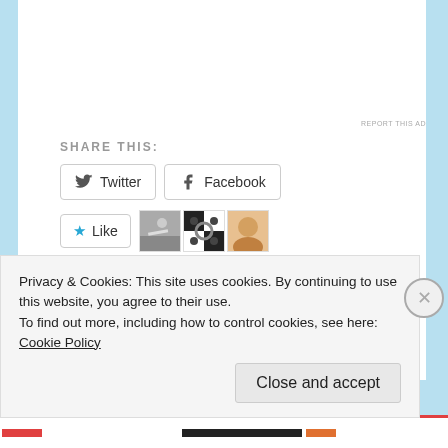[Figure (screenshot): WordPress.com advertisement banner with gradient blue-pink background and WordPress logo]
REPORT THIS AD
SHARE THIS:
[Figure (screenshot): Twitter share button]
[Figure (screenshot): Facebook share button]
[Figure (screenshot): Like button with star icon and 3 blogger avatars]
3 bloggers like this.
RELATED
The 2018 Kansas City
Royalty's Notebook:
Privacy & Cookies: This site uses cookies. By continuing to use this website, you agree to their use.
To find out more, including how to control cookies, see here: Cookie Policy
Close and accept